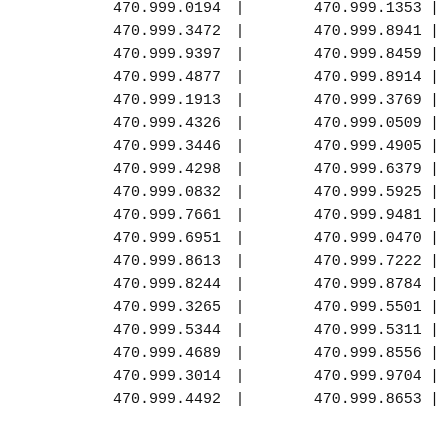| col1 | col2 |
| --- | --- |
| 470.999.0194 | 470.999.1353 |
| 470.999.3472 | 470.999.8941 |
| 470.999.9397 | 470.999.8459 |
| 470.999.4877 | 470.999.8914 |
| 470.999.1913 | 470.999.3769 |
| 470.999.4326 | 470.999.0509 |
| 470.999.3446 | 470.999.4905 |
| 470.999.4298 | 470.999.6379 |
| 470.999.0832 | 470.999.5925 |
| 470.999.7661 | 470.999.9481 |
| 470.999.6951 | 470.999.0470 |
| 470.999.8613 | 470.999.7222 |
| 470.999.8244 | 470.999.8784 |
| 470.999.3265 | 470.999.5501 |
| 470.999.5344 | 470.999.5311 |
| 470.999.4689 | 470.999.8556 |
| 470.999.3014 | 470.999.9704 |
| 470.999.4492 | 470.999.8653 |